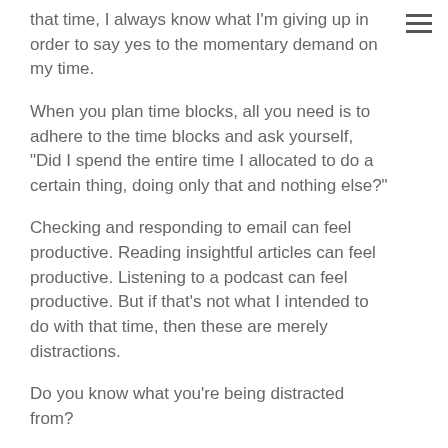that time, I always know what I'm giving up in order to say yes to the momentary demand on my time.
When you plan time blocks, all you need is to adhere to the time blocks and ask yourself, "Did I spend the entire time I allocated to do a certain thing, doing only that and nothing else?"
Checking and responding to email can feel productive. Reading insightful articles can feel productive. Listening to a podcast can feel productive. But if that's not what I intended to do with that time, then these are merely distractions.
Do you know what you're being distracted from?
Share :
Facebook Google+ Twitter